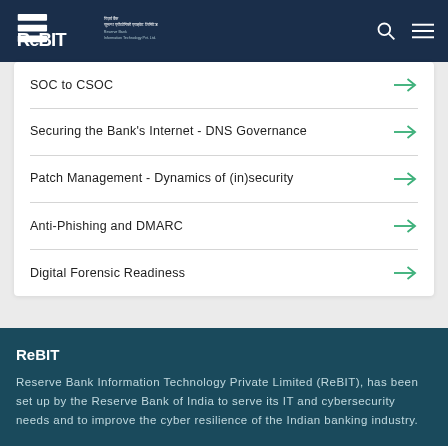ReBIT - Reserve Bank Information Technology Pvt. Ltd.
SOC to CSOC
Securing the Bank's Internet - DNS Governance
Patch Management - Dynamics of (in)security
Anti-Phishing and DMARC
Digital Forensic Readiness
ReBIT
Reserve Bank Information Technology Private Limited (ReBIT), has been set up by the Reserve Bank of India to serve its IT and cybersecurity needs and to improve the cyber resilience of the Indian banking industry.